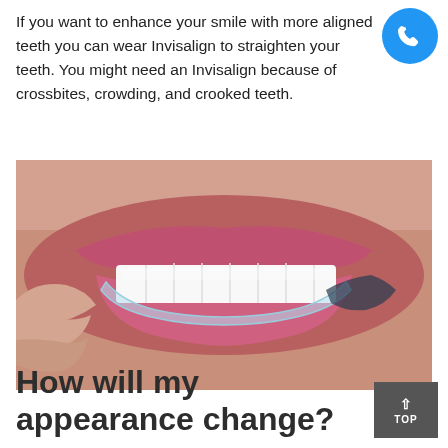If you want to enhance your smile with more aligned teeth you can wear Invisalign to straighten your teeth. You might need an Invisalign because of crossbites, crowding, and crooked teeth.
[Figure (photo): Close-up photo of a person holding a clear Invisalign dental aligner tray near their mouth showing white teeth and pink lips]
How will my appearance change?